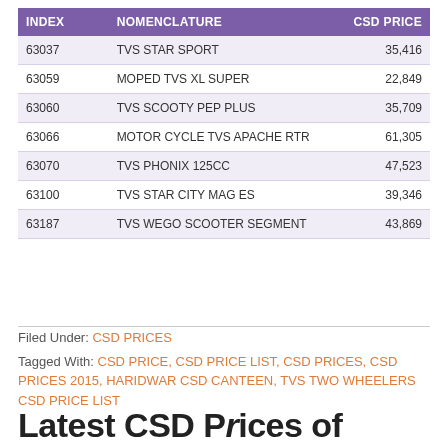| INDEX | NOMENCLATURE | CSD PRICE |
| --- | --- | --- |
| 63037 | TVS STAR SPORT | 35,416 |
| 63059 | MOPED TVS XL SUPER | 22,849 |
| 63060 | TVS SCOOTY PEP PLUS | 35,709 |
| 63066 | MOTOR CYCLE TVS APACHE RTR | 61,305 |
| 63070 | TVS PHONIX 125CC | 47,523 |
| 63100 | TVS STAR CITY MAG ES | 39,346 |
| 63187 | TVS WEGO SCOOTER SEGMENT | 43,869 |
Filed Under: CSD PRICES
Tagged With: CSD PRICE, CSD PRICE LIST, CSD PRICES, CSD PRICES 2015, HARIDWAR CSD CANTEEN, TVS TWO WHEELERS CSD PRICE LIST
Latest CSD Prices of HERO